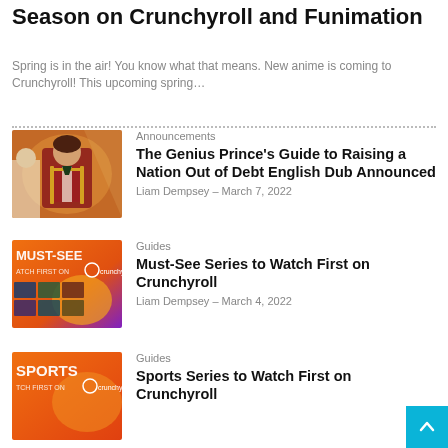Season on Crunchyroll and Funimation
Spring is in the air! You know what that means. New anime is coming to Crunchyroll! This upcoming spring...
[Figure (photo): Thumbnail of anime character in red and gold uniform for The Genius Prince's Guide article]
Announcements
The Genius Prince's Guide to Raising a Nation Out of Debt English Dub Announced
Liam Dempsey – March 7, 2022
[Figure (photo): Must-See thumbnail with orange/purple background and 'MUST-SEE WATCH FIRST ON Crunchyroll' text]
Guides
Must-See Series to Watch First on Crunchyroll
Liam Dempsey – March 4, 2022
[Figure (photo): Sports Series thumbnail with orange background and 'SPORTS WATCH FIRST ON Crunchyroll' text]
Guides
Sports Series to Watch First on Crunchyroll